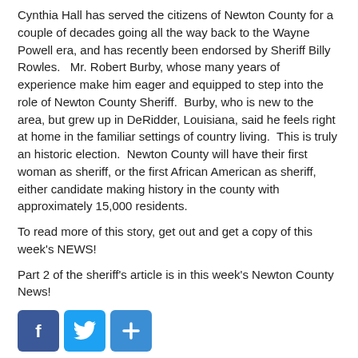Cynthia Hall has served the citizens of Newton County for a couple of decades going all the way back to the Wayne Powell era, and has recently been endorsed by Sheriff Billy Rowles.   Mr. Robert Burby, whose many years of experience make him eager and equipped to step into the role of Newton County Sheriff.  Burby, who is new to the area, but grew up in DeRidder, Louisiana, said he feels right at home in the familiar settings of country living.  This is truly an historic election.  Newton County will have their first woman as sheriff, or the first African American as sheriff, either candidate making history in the county with approximately 15,000 residents.
To read more of this story, get out and get a copy of this week's NEWS!
Part 2 of the sheriff's article is in this week's Newton County News!
[Figure (infographic): Social sharing buttons: Facebook (blue), Twitter (blue), and a Share/Plus button (blue)]
Posted in Top Stories